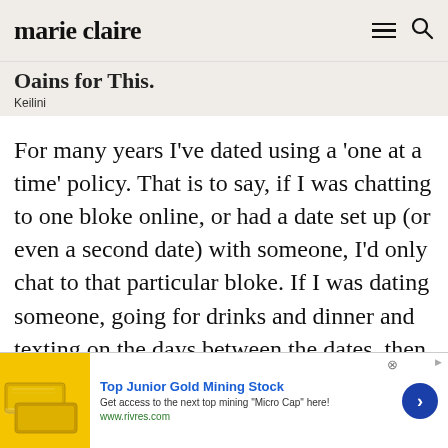marie claire
Oains for This.
Keilini
For many years I've dated using a 'one at a time' policy. That is to say, if I was chatting to one bloke online, or had a date set up (or even a second date) with someone, I'd only chat to that particular bloke. If I was dating someone, going for drinks and dinner and texting on the days between the dates, then I didn't tend to
[Figure (screenshot): Advertisement banner for Top Junior Gold Mining Stock showing gold bars image, text 'Top Junior Gold Mining Stock', 'Get access to the next top mining "Micro Cap" here!', 'www.rivres.com', and a blue arrow button]